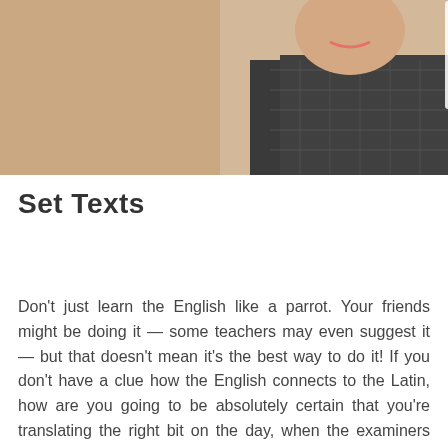[Figure (photo): Partial photo of a woman visible from shoulders up, hand raised near face; overlaid with handwritten Latin word endings: -drum, -is, -os, -1s]
Set Texts
Don't just learn the English like a parrot. Your friends might be doing it — some teachers may even suggest it — but that doesn't mean it's the best way to do it! If you don't have a clue how the English connects to the Latin, how are you going to be absolutely certain that you're translating the right bit on the day, when the examiners pick a chunk at random? And what happens if you just miss out a phrase or even sentence because you completely forgot about it? That's a whole chunk of marks, and you won't realise when you check your work because you won't be able to use the Latin to see what you've missed out. But